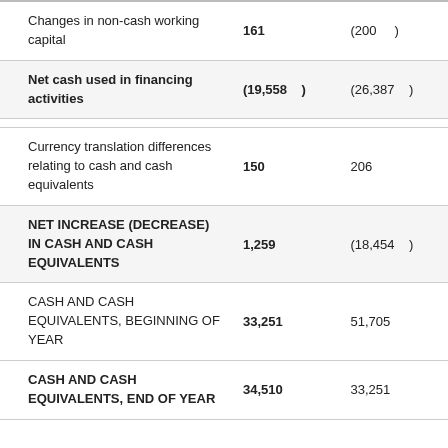| Description | Col1 | Col2 |
| --- | --- | --- |
| Changes in non-cash working capital | 161 | (200   ) |
| Net cash used in financing activities | (19,558   ) | (26,387   ) |
| Currency translation differences relating to cash and cash equivalents | 150 | 206 |
| NET INCREASE (DECREASE) IN CASH AND CASH EQUIVALENTS | 1,259 | (18,454   ) |
| CASH AND CASH EQUIVALENTS, BEGINNING OF YEAR | 33,251 | 51,705 |
| CASH AND CASH EQUIVALENTS, END OF YEAR | 34,510 | 33,251 |